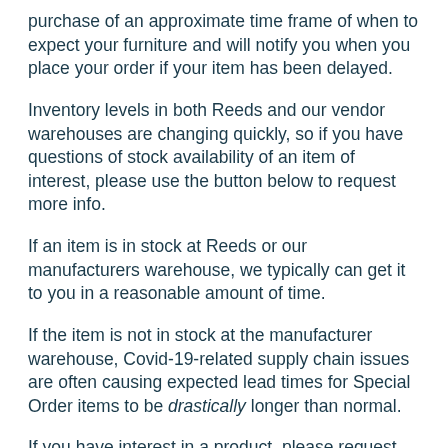purchase of an approximate time frame of when to expect your furniture and will notify you when you place your order if your item has been delayed.
Inventory levels in both Reeds and our vendor warehouses are changing quickly, so if you have questions of stock availability of an item of interest, please use the button below to request more info.
If an item is in stock at Reeds or our manufacturers warehouse, we typically can get it to you in a reasonable amount of time.
If the item is not in stock at the manufacturer warehouse, Covid-19-related supply chain issues are often causing expected lead times for Special Order items to be drastically longer than normal.
If you have interest in a product, please request more info below to find out current availability.